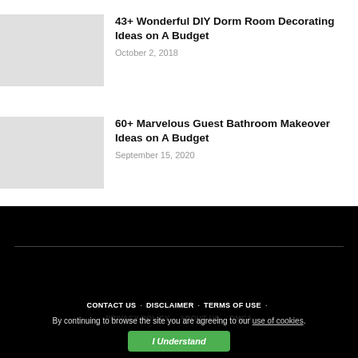43+ Wonderful DIY Dorm Room Decorating Ideas on A Budget
October 2, 2018
60+ Marvelous Guest Bathroom Makeover Ideas on A Budget
September 15, 2020
CONTACT US . DISCLAIMER . TERMS OF USE . PRIVACY POLICY . ABOUT US . DMCA
By continuing to browse the site you are agreeing to our use of cookies.